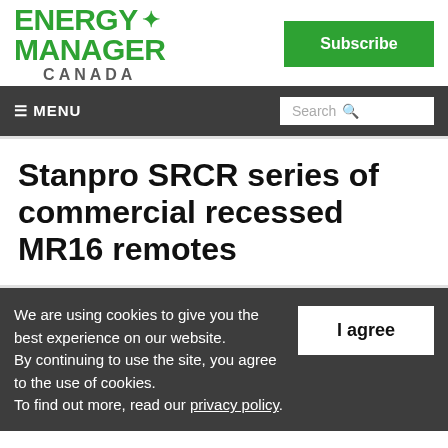[Figure (logo): Energy Manager Canada logo with green maple leaf icon, green bold text ENERGY MANAGER and gray CANADA text]
Subscribe
≡ MENU   Search
Stanpro SRCR series of commercial recessed MR16 remotes
We are using cookies to give you the best experience on our website. By continuing to use the site, you agree to the use of cookies. To find out more, read our privacy policy.
I agree